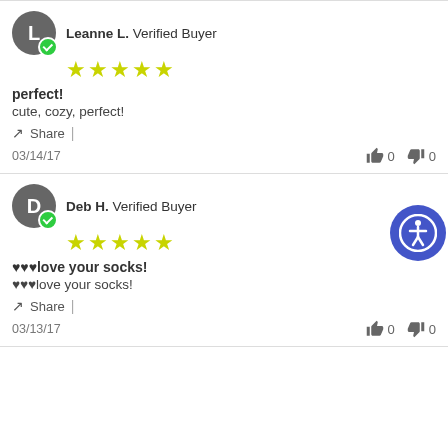Leanne L. Verified Buyer — ★★★★★
perfect!
cute, cozy, perfect!
Share
03/14/17   👍 0   👎 0
Deb H. Verified Buyer — ★★★★★
♥♥♥love your socks!
♥♥♥love your socks!
Share
03/13/17   👍 0   👎 0